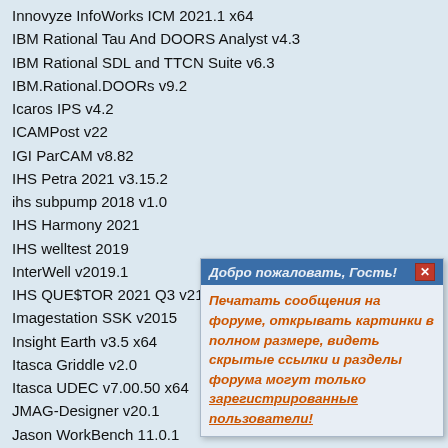Innovyze InfoWorks ICM 2021.1 x64
IBM Rational Tau And DOORS Analyst v4.3
IBM Rational SDL and TTCN Suite v6.3
IBM.Rational.DOORs v9.2
Icaros IPS v4.2
ICAMPost v22
IGI ParCAM v8.82
IHS Petra 2021 v3.15.2
ihs subpump 2018 v1.0
IHS Harmony 2021
IHS welltest 2019
InterWell v2019.1
IHS QUE$TOR 2021 Q3 v21.3
Imagestation SSK v2015
Insight Earth v3.5 x64
Itasca Griddle v2.0
Itasca UDEC v7.00.50 x64
JMAG-Designer v20.1
Jason WorkBench 11.0.1
JewelSuite Subsurface Modeling v2019.
JETCAM EXPERT V15.6
justcgm v5.1
Kappa Workstation v5.4001
KBC Petro-SIM 7.2
IHS Kingdom Suite SMT 2021
Kongsberg LedaFlow Engineering v2.6
Lantek Expert v28
Leica Infinity 3.6.0
[Figure (screenshot): Forum popup: 'Добро пожаловать, Гость!' with message in Russian about registering to post messages, open images in full size, see hidden links and forum sections. Signed by зарегистрированные пользователи!]